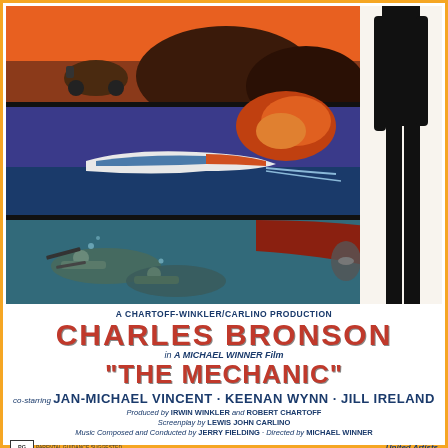[Figure (illustration): Movie poster artwork for 'The Mechanic' (1972) featuring three action scenes stacked vertically on the left: top shows a motorcyclist on rocky terrain with orange/red sky; middle shows a white speedboat on blue water; bottom shows underwater scuba divers with weapons. On the right side is a dark silhouette of a man in a black suit standing full-length.]
A CHARTOFF-WINKLER/CARLINO PRODUCTION
CHARLES BRONSON
in A MICHAEL WINNER Film
"THE MECHANIC"
co-starring JAN-MICHAEL VINCENT · KEENAN WYNN · JILL IRELAND
Produced by IRWIN WINKLER and ROBERT CHARTOFF
Screenplay by LEWIS JOHN CARLINO
Music Composed and Conducted by JERRY FIELDING · Directed by MICHAEL WINNER
United Artists